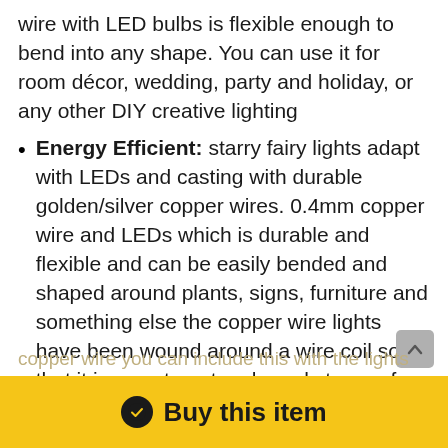wire with LED bulbs is flexible enough to bend into any shape. You can use it for room décor, wedding, party and holiday, or any other DIY creative lighting
Energy Efficient: starry fairy lights adapt with LEDs and casting with durable golden/silver copper wires. 0.4mm copper wire and LEDs which is durable and flexible and can be easily bended and shaped around plants, signs, furniture and something else the copper wire lights have been wound around a wire coil so that it is easy to untangle and storage for next use
Safe to Touch: Only 5V output voltage, the copper wire is insulated and wont be overheated, and
copper wire you can include this with the lights